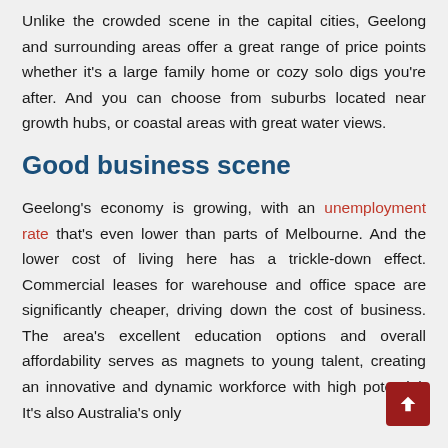Unlike the crowded scene in the capital cities, Geelong and surrounding areas offer a great range of price points whether it's a large family home or cozy solo digs you're after. And you can choose from suburbs located near growth hubs, or coastal areas with great water views.
Good business scene
Geelong's economy is growing, with an unemployment rate that's even lower than parts of Melbourne. And the lower cost of living here has a trickle-down effect. Commercial leases for warehouse and office space are significantly cheaper, driving down the cost of business. The area's excellent education options and overall affordability serves as magnets to young talent, creating an innovative and dynamic workforce with high potential. It's also Australia's only